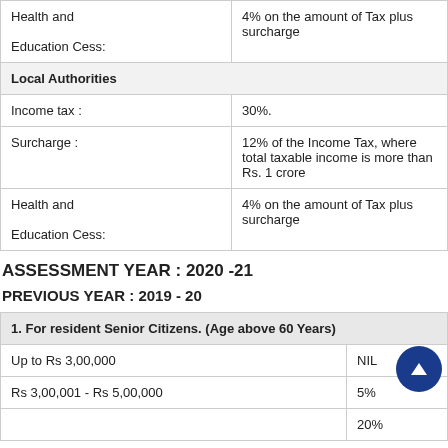|  |  |
| --- | --- |
| Health and
Education Cess: | 4% on the amount of Tax plus surcharge |
| Local Authorities |  |
| Income tax : | 30%. |
| Surcharge : | 12% of the Income Tax, where total taxable income is more than Rs. 1 crore |
| Health and
Education Cess: | 4% on the amount of Tax plus surcharge |
ASSESSMENT YEAR : 2020 -21
PREVIOUS YEAR : 2019 - 20
| 1. For resident Senior Citizens. (Age above 60 Years) |  |
| --- | --- |
| Up to Rs 3,00,000 | NIL |
| Rs 3,00,001 - Rs 5,00,000 | 5% |
|  | 20% |